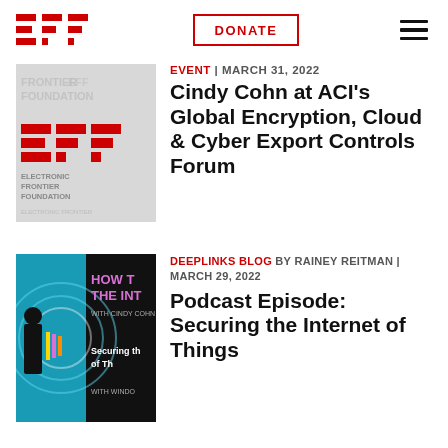EFF | DONATE | menu
[Figure (logo): EFF Electronic Frontier Foundation logo tile mosaic image]
EVENT | MARCH 31, 2022
Cindy Cohn at ACI's Global Encryption, Cloud & Cyber Export Controls Forum
[Figure (illustration): How to Fix the Internet with Cindy Cohn - Securing the Internet of Things podcast cover art]
DEEPLINKS BLOG BY RAINEY REITMAN | MARCH 29, 2022
Podcast Episode: Securing the Internet of Things